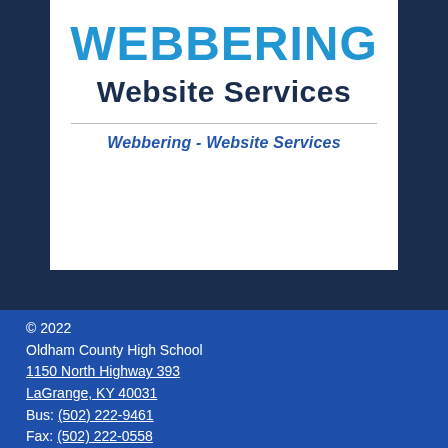[Figure (logo): Webbering Website Services logo — large cyan bold text 'WEBBERING' above dark navy bold 'Website Services', separated by a horizontal rule, subtitle 'Webbering - Website Services' in blue italic, all on white background with dark navy border area.]
© 2022
Oldham County High School
1150 North Highway 393
LaGrange, KY 40031
Bus: (502) 222-9461
Fax: (502) 222-0558